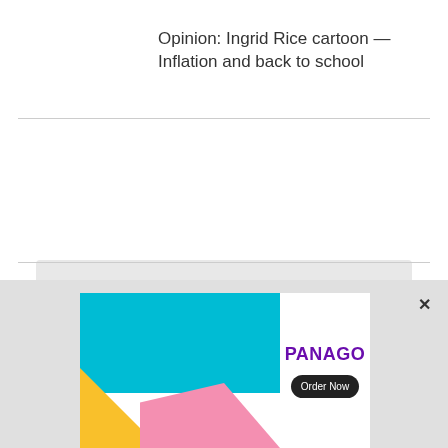Opinion: Ingrid Rice cartoon — Inflation and back to school
Comments (6)
[Figure (other): Advertisement banner for Panago with colorful geometric shapes (blue, yellow, pink) on left and Panago brand name with Order Now button on right]